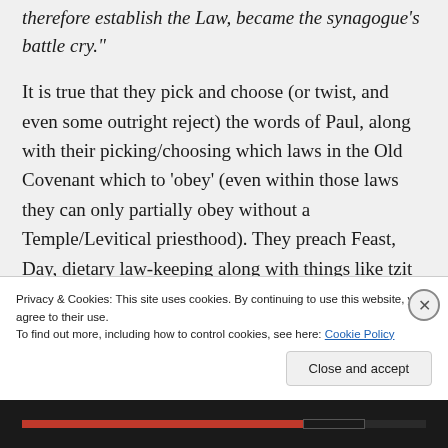therefore establish the Law, became the synagogue's battle cry."
It is true that they pick and choose (or twist, and even some outright reject) the words of Paul, along with their picking/choosing which laws in the Old Covenant which to 'obey' (even within those laws they can only partially obey without a Temple/Levitical priesthood). They preach Feast, Day, dietary law-keeping along with things like tzit tzit wearing, while not
Privacy & Cookies: This site uses cookies. By continuing to use this website, you agree to their use.
To find out more, including how to control cookies, see here: Cookie Policy